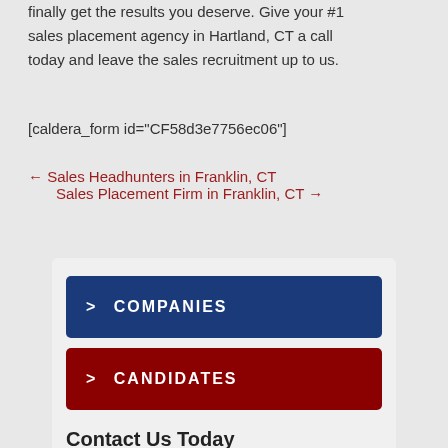finally get the results you deserve. Give your #1 sales placement agency in Hartland, CT a call today and leave the sales recruitment up to us.
[caldera_form id="CF58d3e7756ec06"]
← Sales Headhunters in Franklin, CT
Sales Placement Firm in Franklin, CT →
> COMPANIES
> CANDIDATES
Contact Us Today
201-815-2636
reps@salesteamstaffing.com